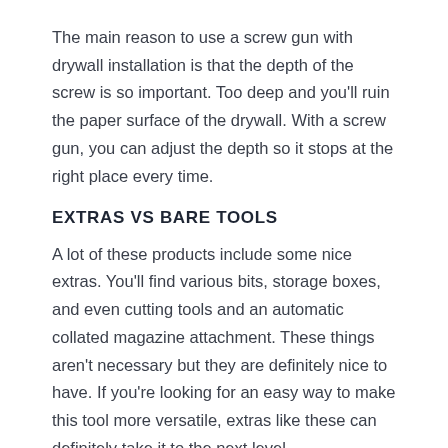The main reason to use a screw gun with drywall installation is that the depth of the screw is so important. Too deep and you'll ruin the paper surface of the drywall. With a screw gun, you can adjust the depth so it stops at the right place every time.
EXTRAS VS BARE TOOLS
A lot of these products include some nice extras. You'll find various bits, storage boxes, and even cutting tools and an automatic collated magazine attachment. These things aren't necessary but they are definitely nice to have. If you're looking for an easy way to make this tool more versatile, extras like these can definitely take it to the next level.